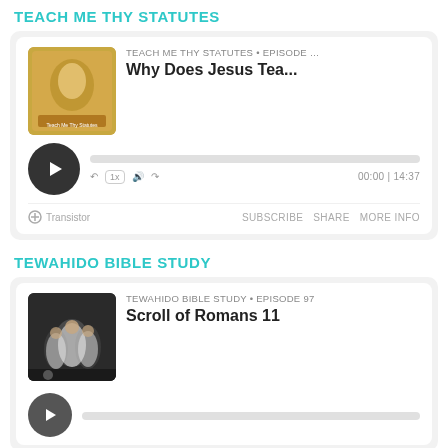TEACH ME THY STATUTES
[Figure (screenshot): Podcast player card for 'Teach Me Thy Statutes' showing episode 'Why Does Jesus Tea...' with album art, play button, progress bar, playback controls (1x speed, volume), time 00:00|14:37, and footer with Transistor logo, SUBSCRIBE, SHARE, MORE INFO links]
TEWAHIDO BIBLE STUDY
[Figure (screenshot): Podcast player card for 'Tewahido Bible Study' Episode 97: 'Scroll of Romans 11' with thumbnail image, play button partially visible at bottom]